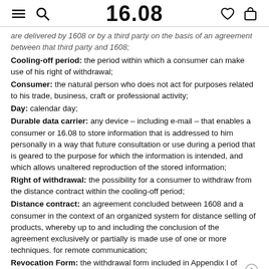16.08
are delivered by 1608 or by a third party on the basis of an agreement between that third party and 1608;
Cooling-off period: the period within which a consumer can make use of his right of withdrawal;
Consumer: the natural person who does not act for purposes related to his trade, business, craft or professional activity;
Day: calendar day;
Durable data carrier: any device – including e-mail – that enables a consumer or 16.08 to store information that is addressed to him personally in a way that future consultation or use during a period that is geared to the purpose for which the information is intended, and which allows unaltered reproduction of the stored information;
Right of withdrawal: the possibility for a consumer to withdraw from the distance contract within the cooling-off period;
Distance contract: an agreement concluded between 1608 and a consumer in the context of an organized system for distance selling of products, whereby up to and including the conclusion of the agreement exclusively or partially is made use of one or more techniques. for remote communication;
Revocation Form: the withdrawal form included in Appendix I of these